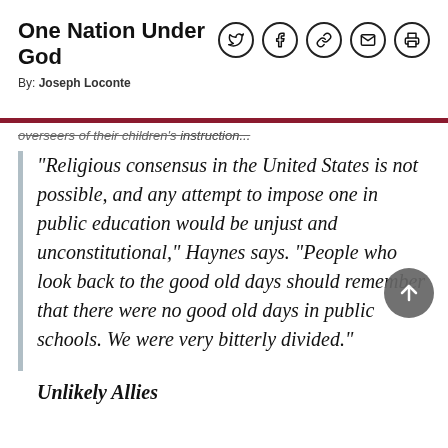One Nation Under God
By: Joseph Loconte
overseers of their children's instruction...
"Religious consensus in the United States is not possible, and any attempt to impose one in public education would be unjust and unconstitutional," Haynes says. "People who look back to the good old days should remember that there were no good old days in public schools. We were very bitterly divided."
Unlikely Allies